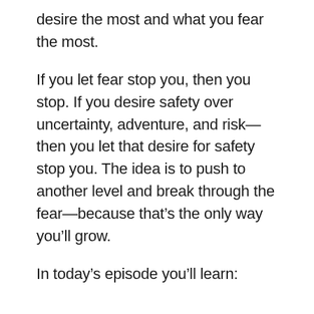desire the most and what you fear the most.
If you let fear stop you, then you stop. If you desire safety over uncertainty, adventure, and risk—then you let that desire for safety stop you. The idea is to push to another level and break through the fear—because that's the only way you'll grow.
In today's episode you'll learn: